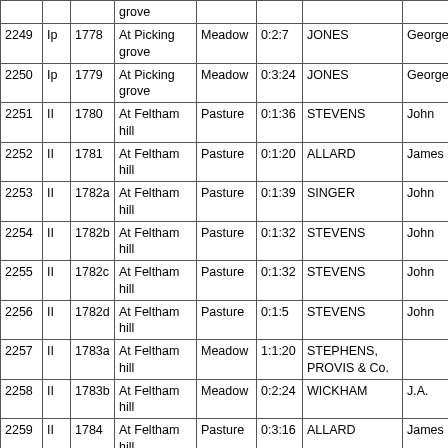|  |  |  | grove |  |  |  |  |
| --- | --- | --- | --- | --- | --- | --- | --- |
| 2249 | Ip | 1778 | At Picking grove | Meadow | 0:2:7 | JONES | George |
| 2250 | Ip | 1779 | At Picking grove | Meadow | 0:3:24 | JONES | George |
| 2251 | II | 1780 | At Feltham hill | Pasture | 0:1:36 | STEVENS | John |
| 2252 | II | 1781 | At Feltham hill | Pasture | 0:1:20 | ALLARD | James |
| 2253 | II | 1782a | At Feltham hill | Pasture | 0:1:39 | SINGER | John |
| 2254 | II | 1782b | At Feltham hill | Pasture | 0:1:32 | STEVENS | John |
| 2255 | II | 1782c | At Feltham hill | Pasture | 0:1:32 | STEVENS | John |
| 2256 | II | 1782d | At Feltham hill | Pasture | 0:1:5 | STEVENS | John |
| 2257 | II | 1783a | At Feltham hill | Meadow | 1:1:20 | STEPHENS, PROVIS & Co. |  |
| 2258 | II | 1783b | At Feltham hill | Meadow | 0:2:24 | WICKHAM | J.A. |
| 2259 | II | 1784 | At Feltham hill | Pasture | 0:3:16 | ALLARD | James |
| 2260 | II | 1785 | At Feltham hill | Pasture | 1:0:13 | STEVENS | John |
| 2261 | Ip | 1786a | At Picking grove | Meadow | 0:1:37 | WICKHAM | J.A. |